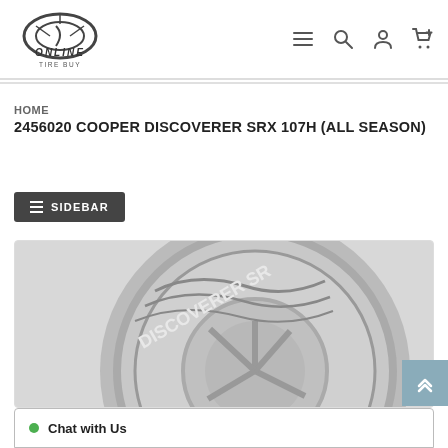Online Tire Buy — navigation header with logo and icons (menu, search, account, cart)
HOME
2456020 COOPER DISCOVERER SRX 107H (ALL SEASON)
≡ SIDEBAR
[Figure (photo): Cooper Discoverer SRX tire shown in close-up, grayscale image displaying the tire tread and sidewall lettering 'DISCOVERER SR']
Chat with Us